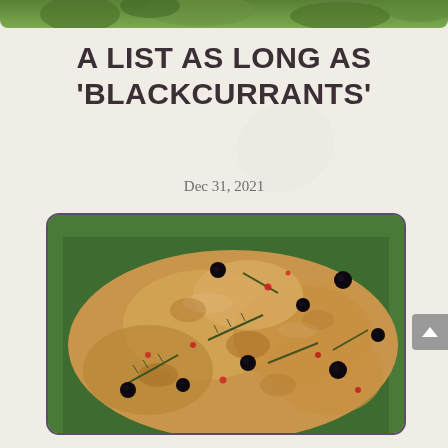[Figure (photo): Top strip showing green foliage/herbs at the top of the page]
A LIST AS LONG AS 'BLACKCURRANTS'
Dec 31, 2021
[Figure (photo): Close-up photo of focaccia bread topped with blackcurrants, rosemary sprigs, and red peppercorns in a green baking pan]